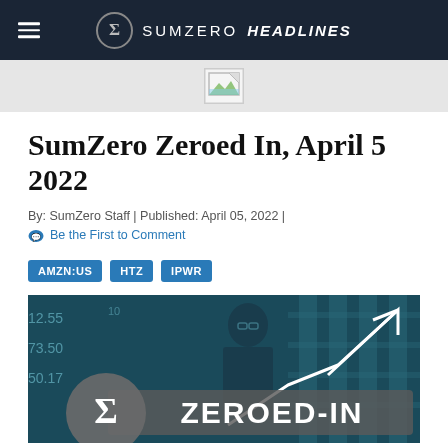SUMZERO HEADLINES
[Figure (other): Broken image placeholder in gray banner bar]
SumZero Zeroed In, April 5 2022
By: SumZero Staff | Published: April 05, 2022 | Be the First to Comment
AMZN:US
HTZ
IPWR
[Figure (photo): Hero image showing a man with glasses against a financial data background with white arrow chart overlay and 'ZEROED-IN' text with SumZero sigma logo]